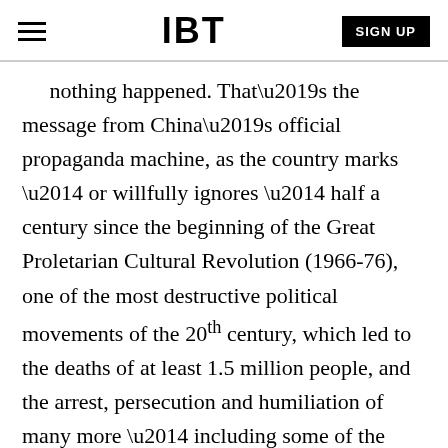IBT | SIGN UP
nothing happened. That’s the message from China’s official propaganda machine, as the country marks — or willfully ignores — half a century since the beginning of the Great Proletarian Cultural Revolution (1966-76), one of the most destructive political movements of the 20th century, which led to the deaths of at least 1.5 million people, and the arrest, persecution and humiliation of many more — including some of the country’s top leaders and most famous intellectuals.